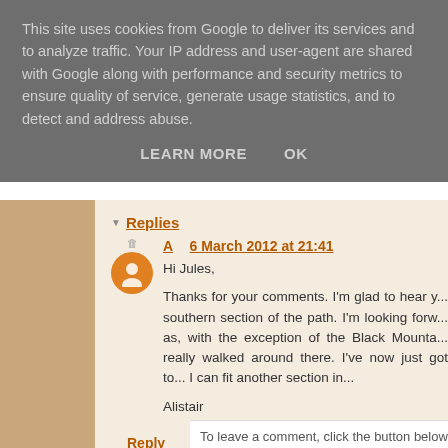This site uses cookies from Google to deliver its services and to analyze traffic. Your IP address and user-agent are shared with Google along with performance and security metrics to ensure quality of service, generate usage statistics, and to detect and address abuse.
LEARN MORE   OK
Replies
A   6 March 2012 at 21:41
Hi Jules,

Thanks for your comments. I'm glad to hear y... southern section of the path. I'm looking forw... as, with the exception of the Black Mounta... really walked around there. I've now just got to... I can fit another section in...

Alistair
Reply
To leave a comment, click the button below to sign in wi...